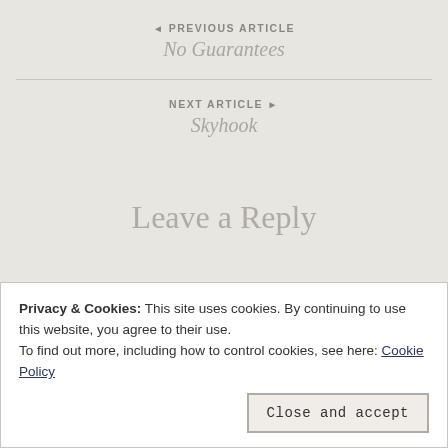◄ PREVIOUS ARTICLE
No Guarantees
NEXT ARTICLE ►
Skyhook
Leave a Reply
Privacy & Cookies: This site uses cookies. By continuing to use this website, you agree to their use.
To find out more, including how to control cookies, see here: Cookie Policy
Close and accept